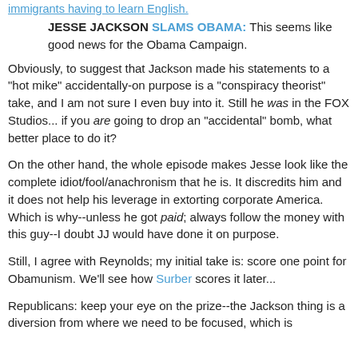immigrants having to learn English.
JESSE JACKSON SLAMS OBAMA: This seems like good news for the Obama Campaign.
Obviously, to suggest that Jackson made his statements to a "hot mike" accidentally-on purpose is a "conspiracy theorist" take, and I am not sure I even buy into it. Still he was in the FOX Studios... if you are going to drop an "accidental" bomb, what better place to do it?
On the other hand, the whole episode makes Jesse look like the complete idiot/fool/anachronism that he is. It discredits him and it does not help his leverage in extorting corporate America. Which is why--unless he got paid; always follow the money with this guy--I doubt JJ would have done it on purpose.
Still, I agree with Reynolds; my initial take is: score one point for Obamunism. We'll see how Surber scores it later...
Republicans: keep your eye on the prize--the Jackson thing is a diversion from where we need to be focused, which is